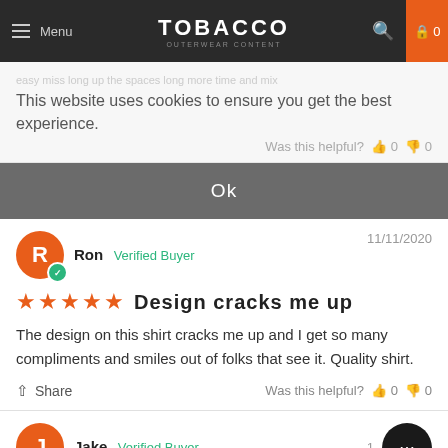TOBACCO — Menu, Search, Cart (0)
This website uses cookies to ensure you get the best experience.
Ok
Ron  Verified Buyer  11/11/2020
Design cracks me up
The design on this shirt cracks me up and I get so many compliments and smiles out of folks that see it. Quality shirt.
Share  Was this helpful?  0  0
Jake  Verified Buyer
True to size, soft!